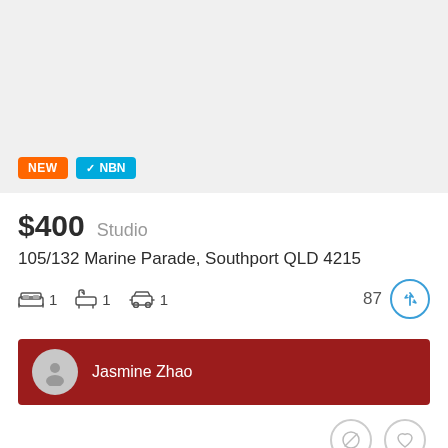[Figure (photo): Property listing photo placeholder (light grey background)]
NEW
✓ NBN
$400  Studio
105/132 Marine Parade, Southport QLD 4215
1 bedroom, 1 bathroom, 1 parking, 87 inspections
Jasmine Zhao